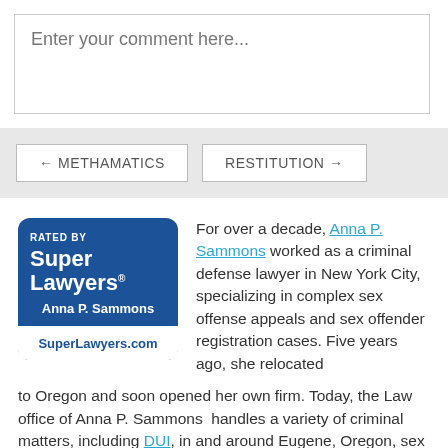Enter your comment here...
← METHAMATICS
RESTITUTION →
[Figure (logo): Super Lawyers badge rated by Super Lawyers, Anna P. Sammons, SuperLawyers.com]
For over a decade, Anna P. Sammons worked as a criminal defense lawyer in New York City, specializing in complex sex offense appeals and sex offender registration cases. Five years ago, she relocated to Oregon and soon opened her own firm. Today, the Law office of Anna P. Sammons handles a variety of criminal matters, including DUI, in and around Eugene, Oregon, sex offender registration matters, Title IX defense, and federal